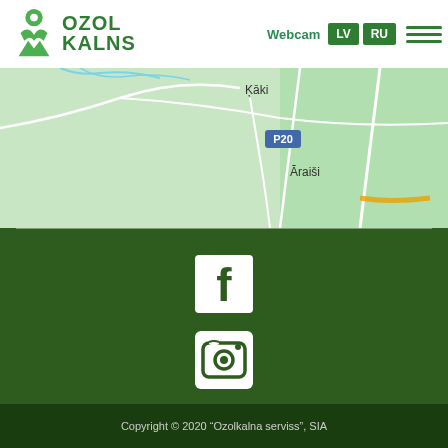[Figure (logo): Ozolkalns logo with green figure icon and text OZOL KALNS]
Webcam  LV  RU
[Figure (map): Green map section showing locations Kāki, P20 road marker, and Āraiši]
[Figure (illustration): Facebook icon (white F on dark green square) on dark green background]
[Figure (illustration): Instagram icon (white camera outline) on dark green background]
Copyright © 2020 "Ozolkalna serviss", SIA